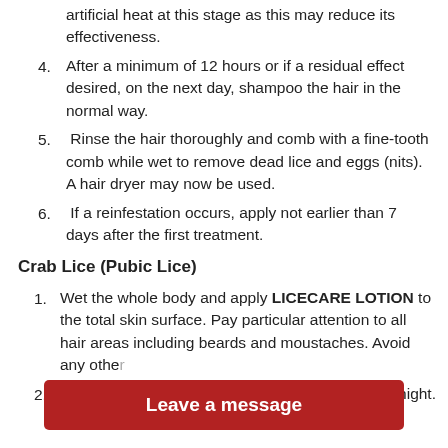artificial heat at this stage as this may reduce its effectiveness.
4. After a minimum of 12 hours or if a residual effect desired, on the next day, shampoo the hair in the normal way.
5.  Rinse the hair thoroughly and comb with a fine-tooth comb while wet to remove dead lice and eggs (nits). A hair dryer may now be used.
6.  If a reinfestation occurs, apply not earlier than 7 days after the first treatment.
Crab Lice (Pubic Lice)
1. Wet the whole body and apply LICECARE LOTION to the total skin surface. Pay particular attention to all hair areas including beards and moustaches. Avoid any othe...
2.  Leave fo... rnight.
Leave a message